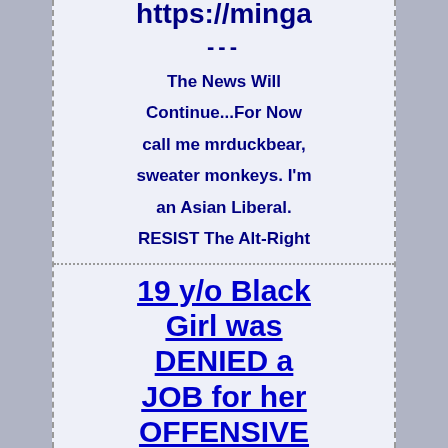https://minga
---
The News Will Continue...For Now call me mrduckbear, sweater monkeys. I'm an Asian Liberal. RESIST The Alt-Right
19 y/o Black Girl was DENIED a JOB for her OFFENSIVE Message! You be the JUDGE!.